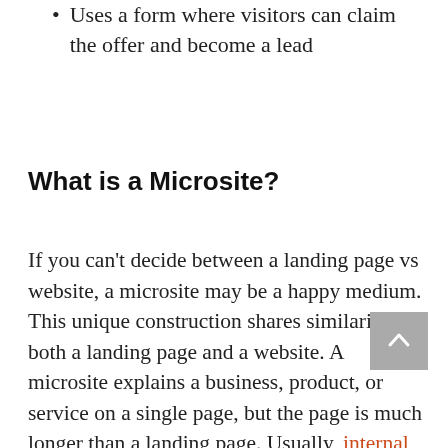Uses a form where visitors can claim the offer and become a lead
What is a Microsite?
If you can't decide between a landing page vs website, a microsite may be a happy medium. This unique construction shares similarities to both a landing page and a website. A microsite explains a business, product, or service on a single page, but the page is much longer than a landing page. Usually, internal links take a visitor to different sections across the page, such as About Us, Our Mission,